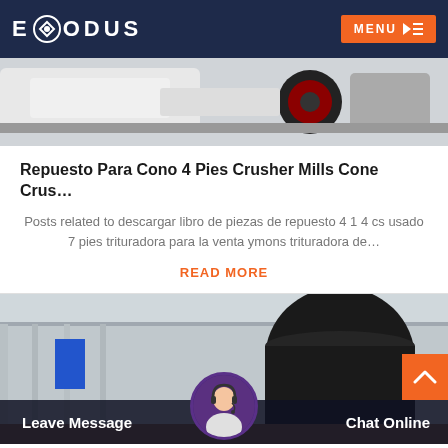EXODUS — MENU
[Figure (photo): Close-up photo of industrial crusher machine parts, showing white metal frame and red/black pulley components]
Repuesto Para Cono 4 Pies Crusher Mills Cone Crus…
Posts related to descargar libro de piezas de repuesto 4 1 4 cs usado 7 pies trituradora para la venta ymons trituradora de…
READ MORE
[Figure (photo): Industrial warehouse/factory interior showing large black cylindrical crusher equipment and metal roof structure]
Leave Message   Chat Online